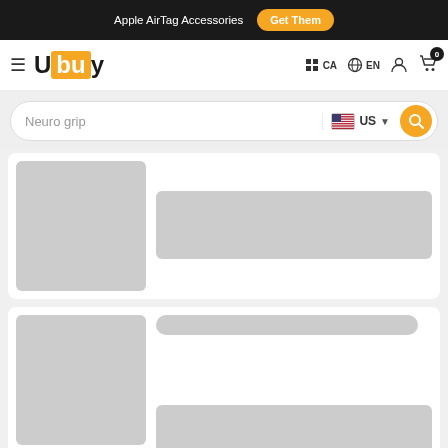Apple AirTag Accessories  Get Them
[Figure (logo): Ubuy logo with orange box around 'bu' letters, navigation icons for CA country, EN language, user account, and cart with 0 items]
Neuro grip — search bar with US flag store selector and search button
[Figure (screenshot): Loading placeholder for first product card with grey image block on left and grey content placeholder bar on right]
[Figure (screenshot): Loading placeholder for second product card with grey image block on left and grey title bar on right]